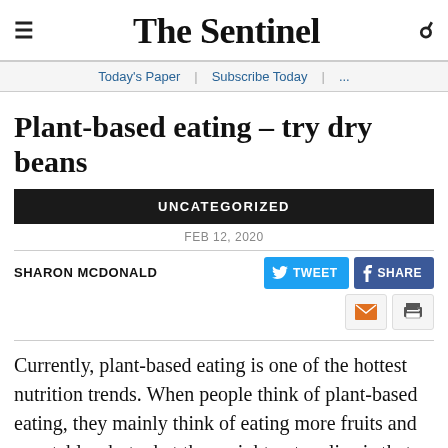The Sentinel
Today's Paper | Subscribe Today | ...
Plant-based eating – try dry beans
UNCATEGORIZED
FEB 12, 2020
SHARON MCDONALD
Currently, plant-based eating is one of the hottest nutrition trends. When people think of plant-based eating, they mainly think of eating more fruits and vegetables, but what they might not realize is that dry beans, peas and lentils will help to add variety and